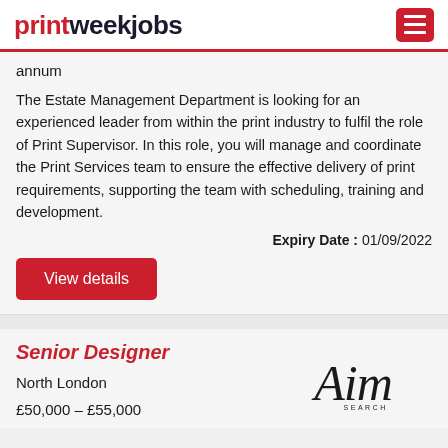printweekjobs
annum
The Estate Management Department is looking for an experienced leader from within the print industry to fulfil the role of Print Supervisor. In this role, you will manage and coordinate the Print Services team to ensure the effective delivery of print requirements, supporting the team with scheduling, training and development.
Expiry Date : 01/09/2022
View details
Senior Designer
North London
£50,000 – £55,000
[Figure (logo): Aim Search logo in italic serif font with 'SEARCH' text below]